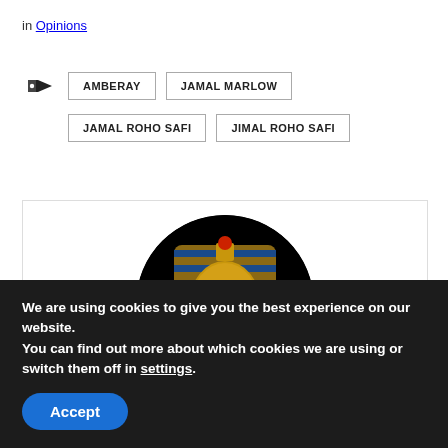in Opinions
AMBERAY  JAMAL MARLOW  JAMAL ROHO SAFI  JIMAL ROHO SAFI
[Figure (photo): Circular portrait image of an ancient Egyptian pharaoh golden mask (King Tutankhamun style) on a black background, centered in a bordered white content box.]
We are using cookies to give you the best experience on our website.
You can find out more about which cookies we are using or switch them off in settings.
Accept